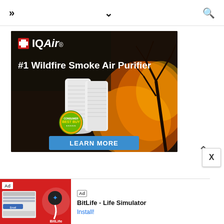>> navigation header with menu and search icons
[Figure (illustration): IQAir advertisement showing #1 Wildfire Smoke Air Purifier against a wildfire background with a white air purifier unit, a best buy badge, and a blue LEARN MORE button]
[Figure (illustration): BitLife Life Simulator app advertisement banner at the bottom with red background and app icon]
BitLife - Life Simulator
Install!